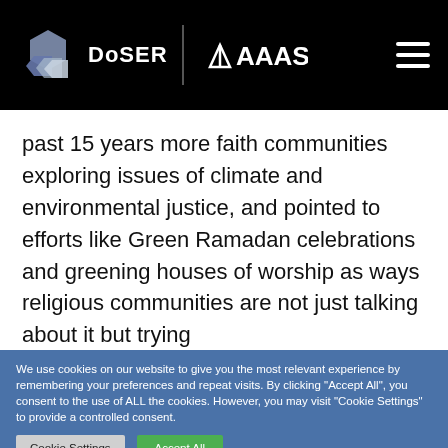DoSER | AAAS
past 15 years more faith communities exploring issues of climate and environmental justice, and pointed to efforts like Green Ramadan celebrations and greening houses of worship as ways religious communities are not just talking about it but trying
We use cookies on our website to give you the most relevant experience by remembering your preferences and repeat visits. By clicking "Accept All", you consent to the use of ALL the cookies. However, you may visit "Cookie Settings" to provide a controlled consent.